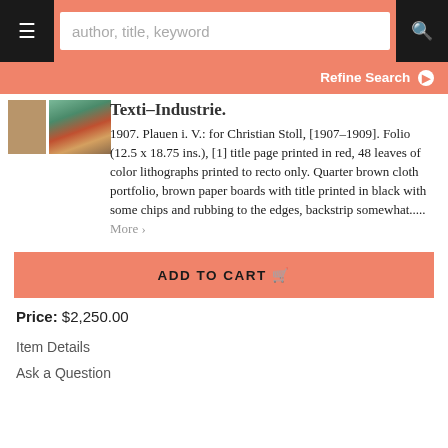author, title, keyword
Refine Search
[Figure (photo): Two book images side by side: a brown spine on the left and a decorative cover with geometric/textile pattern on the right]
Texti-Industrie.
1907. Plauen i. V.: for Christian Stoll, [1907-1909]. Folio (12.5 x 18.75 ins.), [1] title page printed in red, 48 leaves of color lithographs printed to recto only. Quarter brown cloth portfolio, brown paper boards with title printed in black with some chips and rubbing to the edges, backstrip somewhat..... More ›
ADD TO CART
Price: $2,250.00
Item Details
Ask a Question